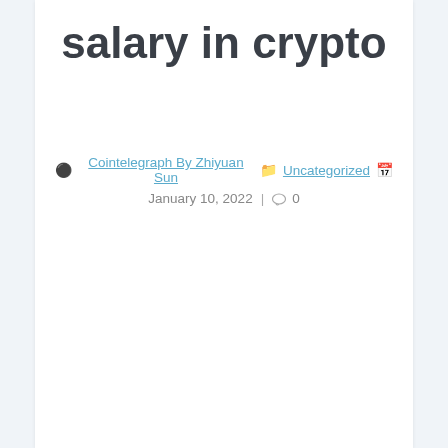salary in crypto
Cointelegraph By Zhiyuan Sun  Uncategorized  January 10, 2022 | 0